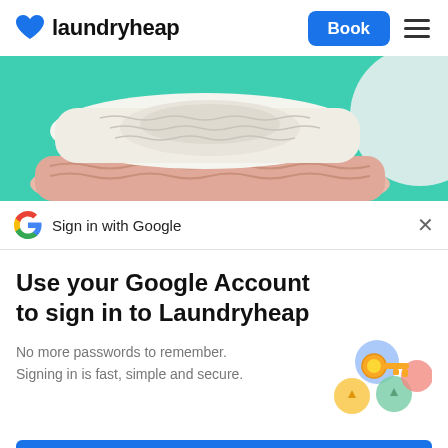laundryheap | Book
[Figure (photo): Folded white and pink knitted sweaters/clothes stacked on a teal/turquoise background]
Sign in with Google
Use your Google Account to sign in to Laundryheap
No more passwords to remember. Signing in is fast, simple and secure.
[Figure (illustration): Colorful Google key illustration with a golden key and colorful circles]
Continue